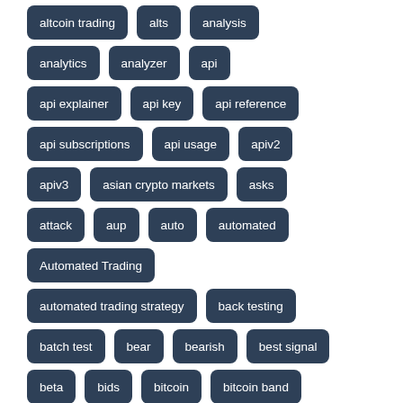altcoin trading
alts
analysis
analytics
analyzer
api
api explainer
api key
api reference
api subscriptions
api usage
apiv2
apiv3
asian crypto markets
asks
attack
aup
auto
automated
Automated Trading
automated trading strategy
back testing
batch test
bear
bearish
best signal
beta
bids
bitcoin
bitcoin band